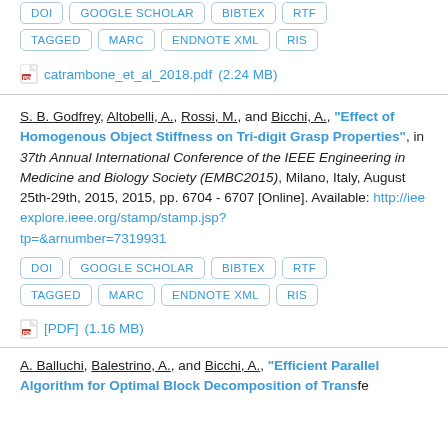DOI | GOOGLE SCHOLAR | BIBTEX | RTF (partial, top of page)
TAGGED | MARC | ENDNOTE XML | RIS
catrambone_et_al_2018.pdf (2.24 MB)
S. B. Godfrey, Altobelli, A., Rossi, M., and Bicchi, A., "Effect of Homogenous Object Stiffness on Tri-digit Grasp Properties", in 37th Annual International Conference of the IEEE Engineering in Medicine and Biology Society (EMBC2015), Milano, Italy, August 25th-29th, 2015, 2015, pp. 6704 - 6707 [Online]. Available: http://ieeexplore.ieee.org/stamp/stamp.jsp?tp=&arnumber=7319931
DOI | GOOGLE SCHOLAR | BIBTEX | RTF
TAGGED | MARC | ENDNOTE XML | RIS
[PDF] (1.16 MB)
A. Balluchi, Balestrino, A., and Bicchi, A., "Efficient Parallel Algorithm for Optimal Block Decomposition of Transfer..."